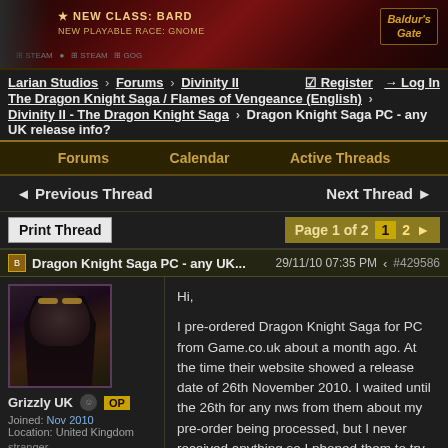[Figure (photo): Baldur's Gate video game advertisement banner showing 'NEW CLASS: BARD - NEW PLAYABLE RACE: GNOME' with dark fantasy artwork]
Larian Studios > Forums > Divinity II   ☑ Register  ➨ Log In
The Dragon Knight Saga / Flames of Vengeance (English) >
Divinity II - The Dragon Knight Saga > Dragon Knight Saga PC - any UK release info?
Forums   Calendar   Active Threads
◄ Previous Thread   Next Thread ►
Print Thread   Page 1 of 2   1  2  ►
Dragon Knight Saga PC - any UK...   29/11/10 07:35 PM   #429586
Grizzly UK  OP
Joined: Nov 2010
Location: United Kingdom
stranger
Hi,

I pre-ordered Dragon Knight Saga for PC from Game.co.uk about a month ago. At the time their website showed a release date of 26th November 2010. I waited until the 26th for any nws from them about my pre-order being processed, but I never received anything so I phoned them to try and find out what was happening. They weren't too sure but